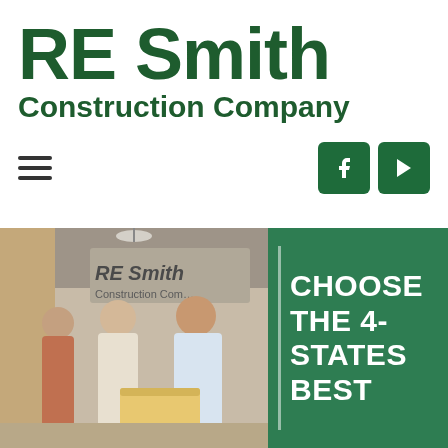RE Smith Construction Company
[Figure (logo): RE Smith Construction Company logo in dark green bold text]
[Figure (photo): Three men standing in RE Smith Construction Company office lobby, with company signage visible on wall behind them. Combined with green panel showing CHOOSE THE 4-STATES BEST text.]